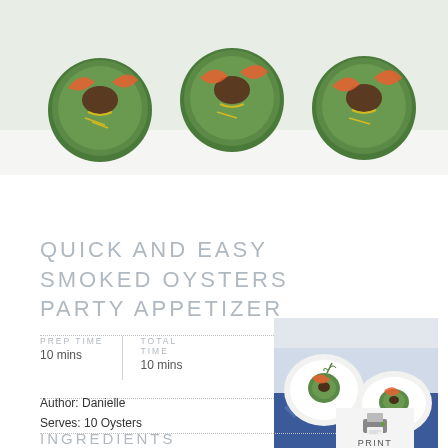[Figure (photo): Close-up photo of smoked oyster appetizers on cucumber rounds with orange garnish on a white platter]
QUICK AND EASY SMOKED OYSTERS PARTY APPETIZER
PREP TIME 10 mins | TOTAL TIME 10 mins
Author: Danielle
Serves: 10 Oysters
[Figure (photo): Small photo of smoked oyster appetizers on white plates on a blue patterned tablecloth]
[Figure (other): Print button icon with printer symbol and PRINT label]
INGREDIENTS